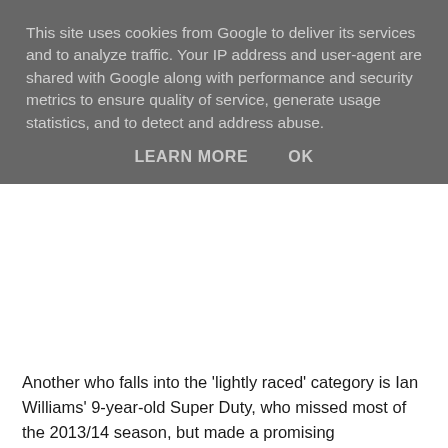This site uses cookies from Google to deliver its services and to analyze traffic. Your IP address and user-agent are shared with Google along with performance and security metrics to ensure quality of service, generate usage statistics, and to detect and address abuse.
LEARN MORE    OK
Another who falls into the 'lightly raced' category is Ian Williams' 9-year-old Super Duty, who missed most of the 2013/14 season, but made a promising reappearance over hurdles at Wetherby four weeks ago. The Grand National is the principal target for the son of high-class jumps sire Shantou, but he only failed by 1¼ lengths to give 3lb to subsequent Bet365 Gold Cup winner Hadrian's Approach when last seen over fences and is 4lb lower in the weights. He's yet to win beyond 2 miles 5 furlongs, but was only just touched off in the Fulke Walwyn Kim Muir Challenge Cup, over 3 miles 1½ furlongs, at the Cheltenham Festival two seasons ago, so stamina shouldn't be an issue.
Wayward Prince lost his way completely in his second season with Ian Williams and, having returned to his owner